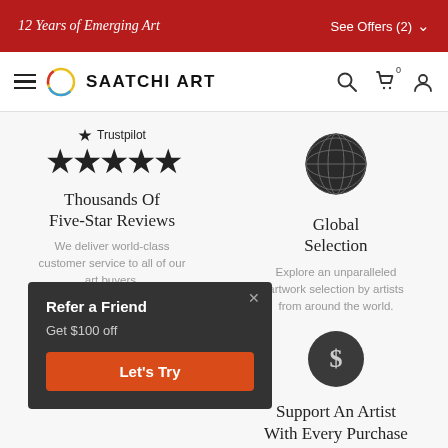12 Years of Emerging Art   See Offers (2)
[Figure (logo): Saatchi Art logo with hamburger menu, circular rainbow logo, and icons for search, cart (0), and user account]
[Figure (illustration): Trustpilot logo with five black stars rating]
Thousands Of Five-Star Reviews
We deliver world-class customer service to all of our art buyers.
[Figure (illustration): Globe/world icon in dark color]
Global Selection
Explore an unparalleled artwork selection by artists from around the world.
[Figure (illustration): Dark circle with dollar sign icon]
Support An Artist With Every Purchase
[Figure (infographic): Refer a Friend popup: Get $100 off, Let's Try button in orange]